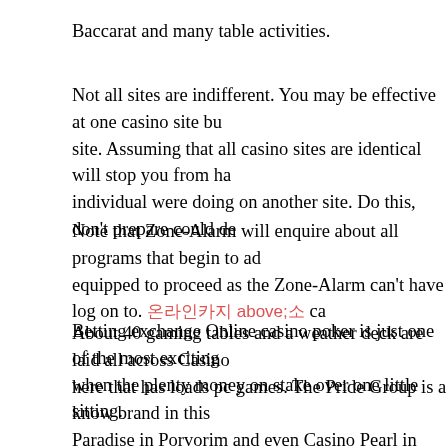Baccarat and many table activities.
Not all sites are indifferent. You may be effective at one casino site bu site. Assuming that all casino sites are identical will stop you from ha individual were doing on another site. Do this, don't prepare could de
Note that Zone-Alarm will enquire about all programs that begin to ad equipped to proceed as the Zone-Alarm can't have log on to. 온라인카지노 ca
Betting exchange Online casino poker is just one of the most exciting when the plenty money on stake over one little sitting.
About 40 gaming tables and a weather deck are laid all across Casino here that has loads pc games. The Pride Group is a know brand in this Paradise in Porvorim and even Casino Pearl in Bogmolla. Its casino is and buffet include the tickets and there exists also live entertainment o
Casino whores are one kind of bonus where there is the perk emerges workable. In this kind of bonus the player uses very less of his own m the some from significant b...